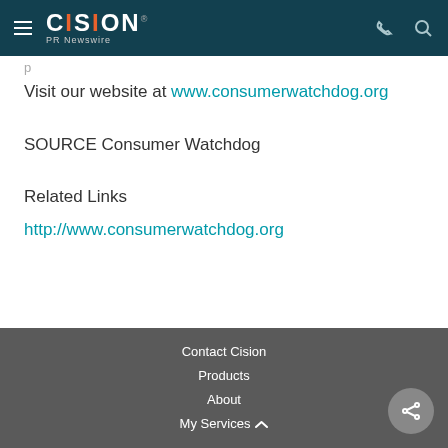CISION PR Newswire
Visit our website at www.consumerwatchdog.org
SOURCE Consumer Watchdog
Related Links
http://www.consumerwatchdog.org
Contact Cision  Products  About  My Services